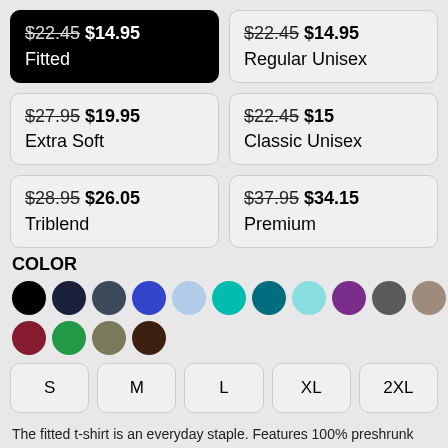$22.45 $14.95 Fitted (selected)
$22.45 $14.95 Regular Unisex
$27.95 $19.95 Extra Soft
$22.45 $15 Classic Unisex
$28.95 $26.05 Triblend
$37.95 $34.15 Premium
COLOR
[Figure (infographic): Color swatches: black (selected), navy, dark slate, blue, light blue, teal/turquoise, dark teal, light teal, purple, dark gray, taupe, light gray, red, dark red/maroon, green, olive, dark brown]
S
M
L
XL
2XL
The fitted t-shirt is an everyday staple. Features 100% preshrunk